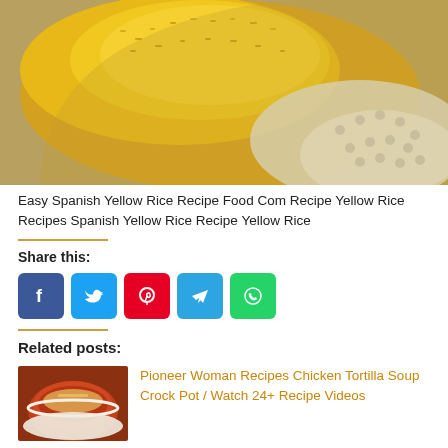[Figure (photo): Close-up photo of yellow Spanish rice served in a white plate]
Easy Spanish Yellow Rice Recipe Food Com Recipe Yellow Rice Recipes Spanish Yellow Rice Recipe Yellow Rice
Share this:
[Figure (infographic): Social share buttons: Facebook (blue), Twitter (light blue), Pinterest (red), Telegram (blue), WhatsApp (green)]
Related posts:
[Figure (photo): Thumbnail image of chicken tortilla soup in a bowl]
Pioneer Woman Recipes Chicken Tortilla Soup Crock Pot / Watch 24+ Recipe Videos